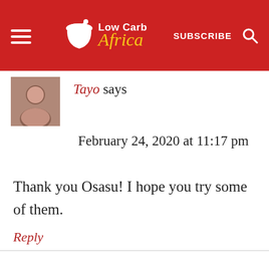Low Carb Africa — SUBSCRIBE
Tayo says
February 24, 2020 at 11:17 pm
Thank you Osasu! I hope you try some of them.
Reply